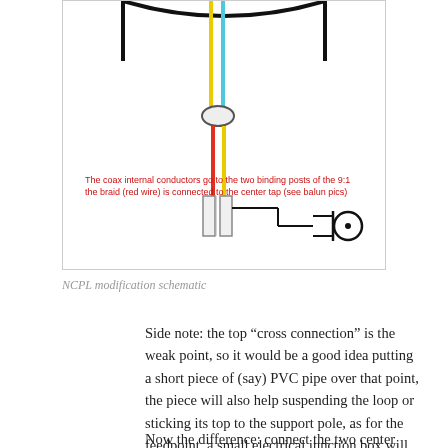[Figure (schematic): NCPL antenna schematic showing cross connection at top with colored wires (yellow, cyan/blue, black) converging into a feedpoint below with red and yellow parallel conductors leading to a coaxial connector. Red text inside the diagram reads: 'The coax internal conductors go to the two binding posts of the 9:1 the braid (red wire) is connected to the center tap (see balun pics)']
NCPL modification schematic
Side note: the top “cross connection” is the weak point, so it would be a good idea putting a short piece of (say) PVC pipe over that point, the piece will also help suspending the loop or sticking its top to the support pole, as for the feedpoint, a small electrical junction box will fit and protect the tiny balun from bad weather
Now the difference: connect the two center conductors